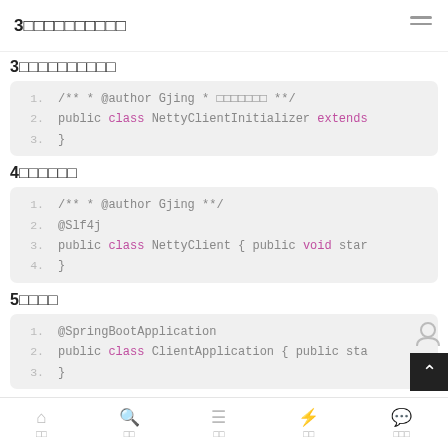3□□□□□□□□□□
3□□□□□□□□□□
[Figure (screenshot): Code block 1: /** * @author Gjing * □□□□□□□ **/  public class NettyClientInitializer extends  }]
4□□□□□□
[Figure (screenshot): Code block 2: /** * @author Gjing **/  @Slf4j  public class NettyClient { public void star  }]
5□□□□
[Figure (screenshot): Code block 3: @SpringBootApplication  public class ClientApplication { public sta  }]
□□  □□  □□  □□  □□□